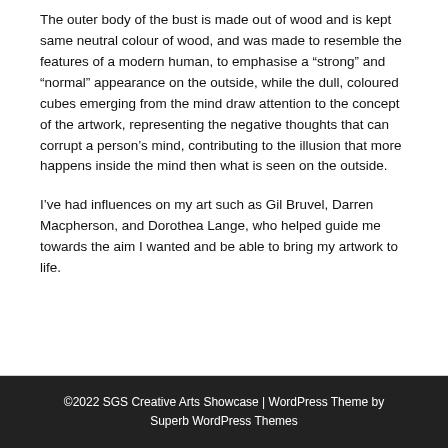The outer body of the bust is made out of wood and is kept same neutral colour of wood, and was made to resemble the features of a modern human, to emphasise a “strong” and “normal” appearance on the outside, while the dull, coloured cubes emerging from the mind draw attention to the concept of the artwork, representing the negative thoughts that can corrupt a person’s mind, contributing to the illusion that more happens inside the mind then what is seen on the outside.
I’ve had influences on my art such as Gil Bruvel, Darren Macpherson, and Dorothea Lange, who helped guide me towards the aim I wanted and be able to bring my artwork to life.
©2022 SGS Creative Arts Showcase | WordPress Theme by Superb WordPress Themes